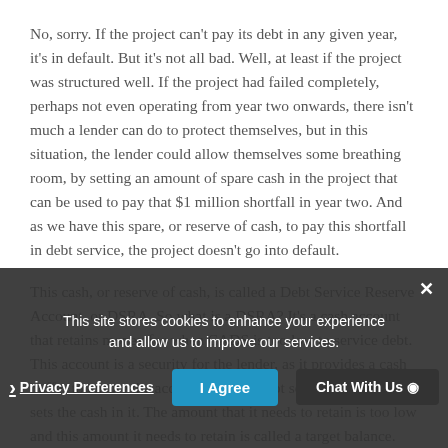No, sorry. If the project can't pay its debt in any given year, it's in default. But it's not all bad. Well, at least if the project was structured well. If the project had failed completely, perhaps not even operating from year two onwards, there isn't much a lender can do to protect themselves, but in this situation, the lender could allow themselves some breathing room, by setting an amount of spare cash in the project that can be used to pay that $1 million shortfall in year two. And as we have this spare, or reserve of cash, to pay this shortfall in debt service, the project doesn't go into default.
This cash, or reserve of cash, is called a Debt Service Reserve Account, or DSRA. So what is a DSRA? It's a cash account that retains money for when CADS is too low to service debt. This account is a security for the lender, as it provides a cash buffer to ensure the account can pay debt service. The lender sets the cash in it. The amount that it needs to retain is too low and this amount it needs to retain is called a target balance.
The Debt Service Reserve Account is an important part of a project finance structure and in the model we're doing our calculations we should walk through a...
This site stores cookies to enhance your experience and allow us to improve our services.
Privacy Preferences
I Agree
Chat With Us